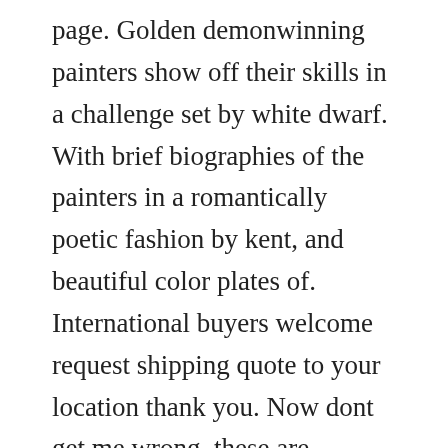page. Golden demonwinning painters show off their skills in a challenge set by white dwarf. With brief biographies of the painters in a romantically poetic fashion by kent, and beautiful color plates of. International buyers welcome request shipping quote to your location thank you. Now dont get me wrong, these are exceptional pieces of modelling, but it is a bit irritating knowing that they are about 3mm shy of 24 this isnt a big deal when forge world realm of battle cityscape board sections will only be aligned next to other. My details